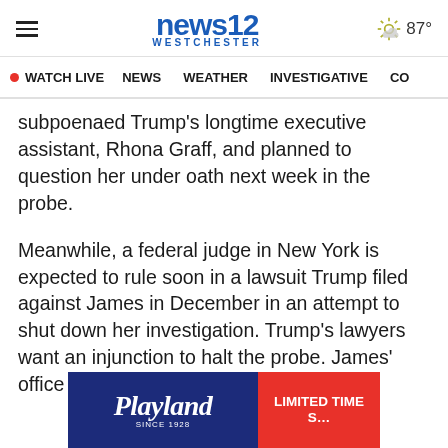news12 WESTCHESTER | 87°
WATCH LIVE | NEWS | WEATHER | INVESTIGATIVE | CO
subpoenaed Trump's longtime executive assistant, Rhona Graff, and planned to question her under oath next week in the probe.
Meanwhile, a federal judge in New York is expected to rule soon in a lawsuit Trump filed against James in December in an attempt to shut down her investigation. Trump's lawyers want an injunction to halt the probe. James' office is seeking to throw out the lawsuit.
[Figure (other): Playland advertisement banner with red background, navy logo on left and 'LIMITED TIME S…' text on right]